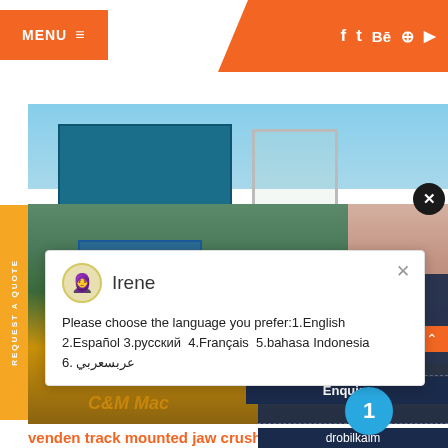[Figure (screenshot): Website header with orange MENU button on left and orange right section with social media icons (f, t, Be, circle, play button)]
[Figure (photo): Industrial machinery photo showing blue metal structures, scaffolding, mining/crushing equipment with 'C&M Mac' text visible at bottom]
Irene
Please choose the language you prefer:1.English  2.Español 3.русский  4.Français  5.bahasa Indonesia   6. عربسعربي
Have any m... click here.
Quot
Enquiry
drobilkalm
1
venden track mounted jaw crusher - Birch Ac